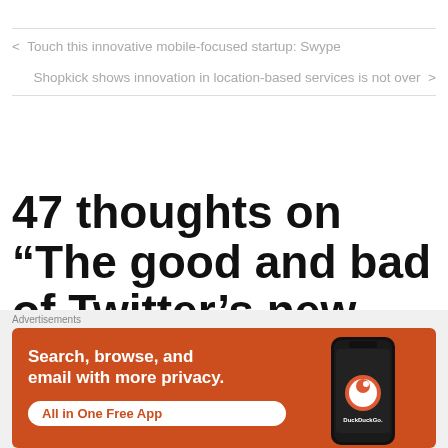< Touch this innovative mobile-focused startup: Swype
Shopkick shows innovation in location-based services is not over >
47 thoughts on “The good and bad of Twitter’s new design (exclusive video of
[Figure (other): DuckDuckGo advertisement banner on orange background with text 'Search, browse, and email with more privacy. All in One Free App' and phone image with DuckDuckGo logo]
Advertisements